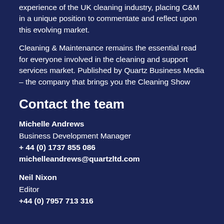experience of the UK cleaning industry, placing C&M in a unique position to commentate and reflect upon this evolving market.
Cleaning & Maintenance remains the essential read for everyone involved in the cleaning and support services market. Published by Quartz Business Media – the company that brings you the Cleaning Show
Contact the team
Michelle Andrews
Business Development Manager
+ 44 (0) 1737 855 086
michelleandrews@quartzltd.com
Neil Nixon
Editor
+44 (0) 7957 713 316